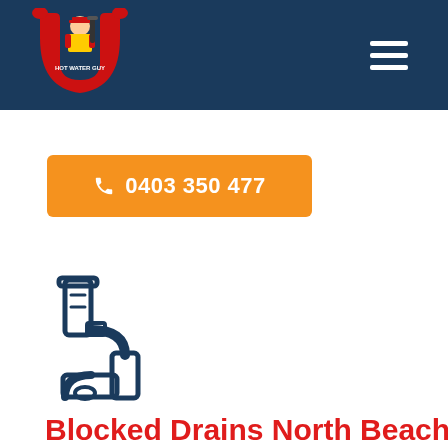Hot Water Guy - Navigation header with logo and hamburger menu
0403 350 477
[Figure (illustration): Drain pipe / P-trap plumbing icon in dark navy blue outline style]
Blocked Drains North Beach